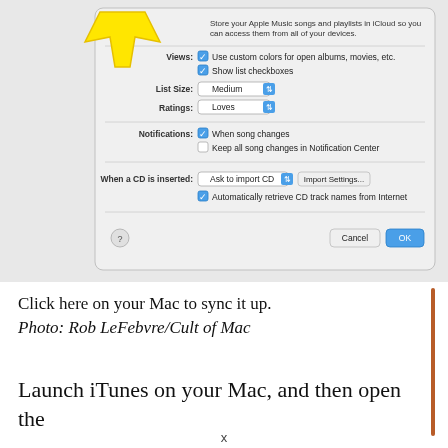[Figure (screenshot): macOS iTunes preferences dialog box showing Views, List Size, Ratings, Notifications, and When a CD is inserted settings, with a yellow arrow pointing to a checkbox area at the top. Cancel and OK buttons at bottom.]
Click here on your Mac to sync it up.
Photo: Rob LeFebvre/Cult of Mac
Launch iTunes on your Mac, and then open the